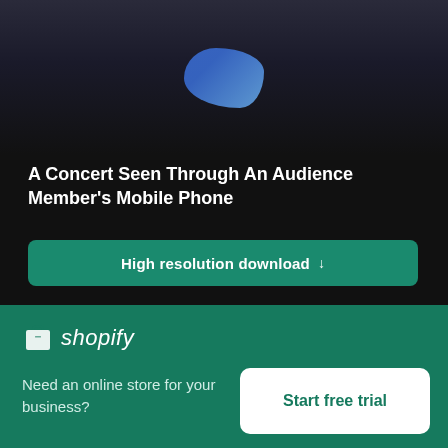[Figure (photo): Dark background photo with blue shape visible at top, concert-related image]
A Concert Seen Through An Audience Member's Mobile Phone
High resolution download ↓
[Figure (photo): Blurred concert or person photo with dark blue-green and brown tones]
[Figure (logo): Shopify logo with shopping bag icon and italic shopify text on green background]
Need an online store for your business?
Start free trial